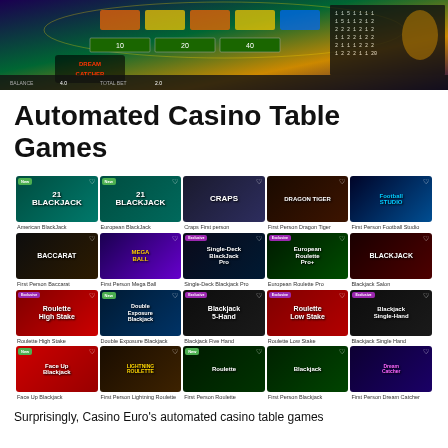[Figure (screenshot): Screenshot of a Dream Catcher live casino game showing a spinning wheel with colorful segments and a betting interface]
Automated Casino Table Games
[Figure (screenshot): Grid of 20 automated casino table game thumbnails including American BlackJack, European BlackJack, Craps First person, First Person Dragon Tiger, First Person Football Studio, First Person Baccarat, First Person Mega Ball, Single-Deck Blackjack Pro, European Roulette Pro, Blackjack Salon, Roulette High Stake, Double Exposure Blackjack, Blackjack 5-Hand, Roulette Low Stake, Blackjack Single-Hand, Face Up Blackjack, First Person Lightning Roulette, First Person Roulette, First Person Blackjack, First Person Dream Catcher]
Surprisingly, Casino Euro's automated casino table games